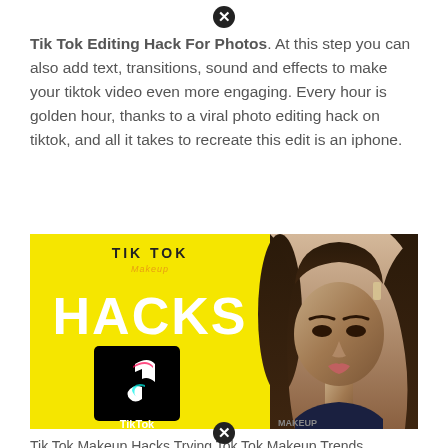[Figure (other): Close button (X) icon at top center]
Tik Tok Editing Hack For Photos. At this step you can also add text, transitions, sound and effects to make your tiktok video even more engaging. Every hour is golden hour, thanks to a viral photo editing hack on tiktok, and all it takes to recreate this edit is an iphone.
[Figure (illustration): TikTok Makeup Hacks promotional image: yellow background with 'TIK TOK' header, 'Makeup' subtitle, large white 'HACKS' text, TikTok logo in black box, and a photo of a young woman on the right side.]
Tik Tok Makeup Hacks Trying Tok Tok Makeup Trends YouTube from www.youtube.com
[Figure (other): Close button (X) icon at bottom center]